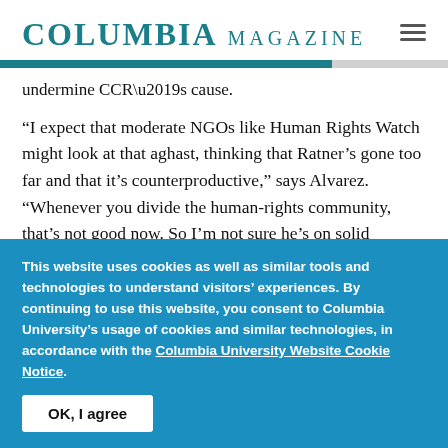COLUMBIA MAGAZINE
undermine CCR’s cause.
“I expect that moderate NGOs like Human Rights Watch might look at that aghast, thinking that Ratner’s gone too far and that it’s counterproductive,” says Alvarez. “Whenever you divide the human-rights community, that’s not good now. So I’m not sure he’s on solid
This website uses cookies as well as similar tools and technologies to understand visitors’ experiences. By continuing to use this website, you consent to Columbia University’s usage of cookies and similar technologies, in accordance with the Columbia University Website Cookie Notice.
OK, I agree